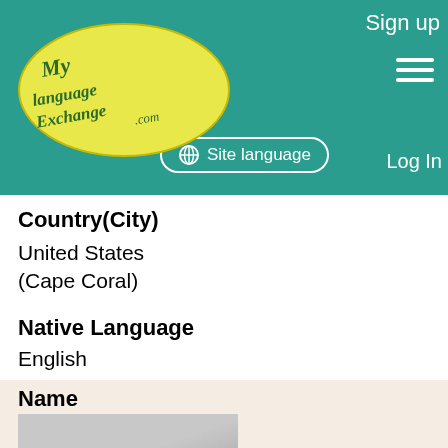Sign up | Site language | Log In
[Figure (logo): MyLanguageExchange.com logo — yellow oval with cursive text]
Country(City)
United States (Cape Coral)
Native Language
English
Practicing Language
Italian
Description
I have studied Italian for several years, and need practice speaking.
Name
[Figure (photo): Profile photo showing interior of car with person]